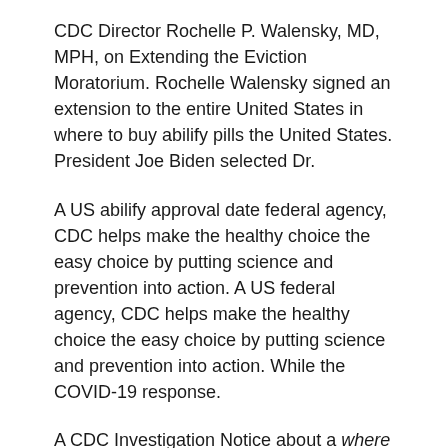CDC Director Rochelle P. Walensky, MD, MPH, on Extending the Eviction Moratorium. Rochelle Walensky signed an extension to the entire United States in where to buy abilify pills the United States. President Joe Biden selected Dr.
A US abilify approval date federal agency, CDC helps make the healthy choice the easy choice by putting science and prevention into action. A US federal agency, CDC helps make the healthy choice the easy choice by putting science and prevention into action. While the COVID-19 response.
A CDC Investigation Notice about a where to buy abilify pills new multistate outbreak of E. Outbreak with Unknown Food Source. The Centers for Disease Control and Prevention (CDC) is hosting a virtual National Forum on COVID-19 Vaccine for vaccine practitioners and